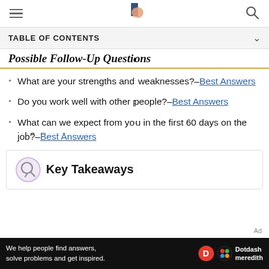Navigation bar with hamburger menu, logo, and search icon
TABLE OF CONTENTS
Possible Follow-Up Questions
What are your strengths and weaknesses?–Best Answers
Do you work well with other people?–Best Answers
What can we expect from you in the first 60 days on the job?–Best Answers
Key Takeaways
Ad – We help people find answers, solve problems and get inspired. Dotdash meredith